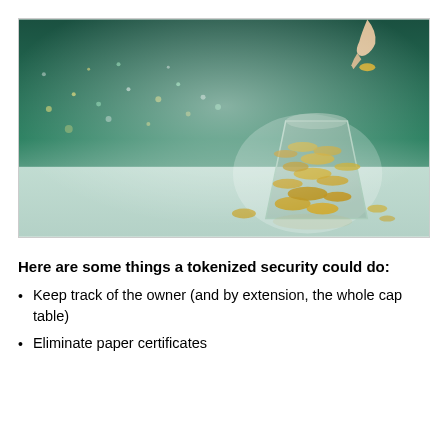[Figure (photo): Photo of a glass beaker filled with gold coins, with a hand dropping a coin into it from above, against a blurred city lights background at night with green-teal tones.]
Here are some things a tokenized security could do:
Keep track of the owner (and by extension, the whole cap table)
Eliminate paper certificates